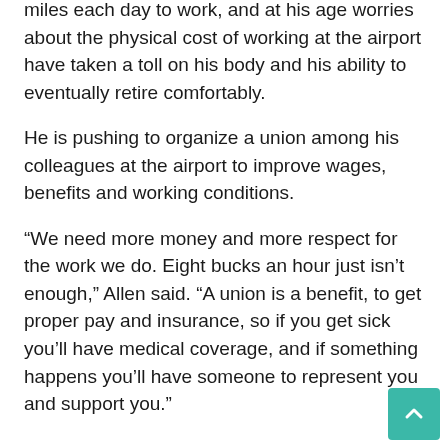miles each day to work, and at his age worries about the physical cost of working at the airport have taken a toll on his body and his ability to eventually retire comfortably.
He is pushing to organize a union among his colleagues at the airport to improve wages, benefits and working conditions.
“We need more money and more respect for the work we do. Eight bucks an hour just isn’t enough,” Allen said. “A union is a benefit, to get proper pay and insurance, so if you get sick you’ll have medical coverage, and if something happens you’ll have someone to represent you and support you.”